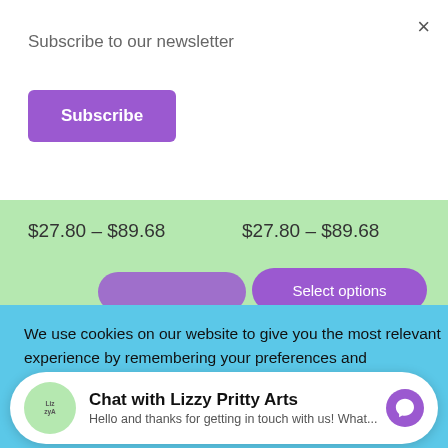×
Subscribe to our newsletter
Subscribe
$27.80 – $89.68
$27.80 – $89.68
Select options
We use cookies on our website to give you the most relevant experience by remembering your preferences and
This site contains affiliate links to products. We may receive a commission for purchases made through these links. Keep in mind that we may receive commissions when you click our links and make purchases. However, this does not impact our reviews and comparisons. We try our best to keep
Chat with Lizzy Pritty Arts
Hello and thanks for getting in touch with us! What...